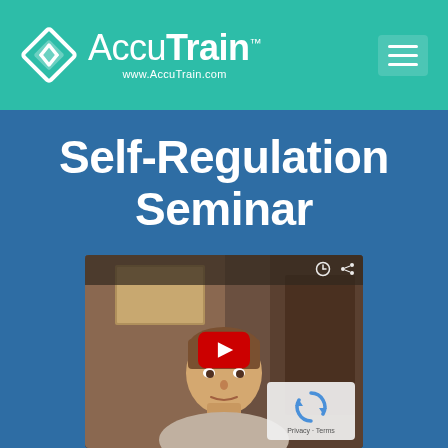[Figure (logo): AccuTrain logo with diamond/arrow icon and text 'AccuTrain' with URL www.AccuTrain.com on teal/green background header, with hamburger menu icon on right]
Self-Regulation Seminar
[Figure (screenshot): YouTube video embed thumbnail showing a man facing camera in indoor setting, with red YouTube play button in center, clock and share icons in top right corner, and reCAPTCHA Privacy/Terms badge in bottom right corner]